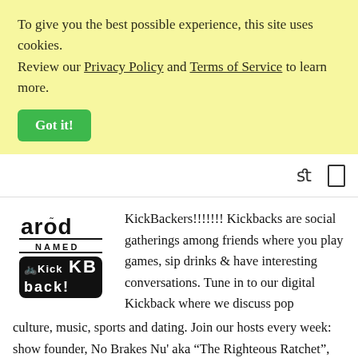To give you the best possible experience, this site uses cookies. Review our Privacy Policy and Terms of Service to learn more.
Got it!
[Figure (logo): Arod Named Kickback logo in black and white]
KickBackers!!!!!!! Kickbacks are social gatherings among friends where you play games, sip drinks & have interesting conversations. Tune in to our digital Kickback where we discuss pop culture, music, sports and dating. Join our hosts every week: show founder, No Brakes Nu' aka “The Righteous Ratchet”, retired self-made rapper from DC, who lives up to the aforementioned moniker. Melanie Dionne AKA So Melo, a Howard University...